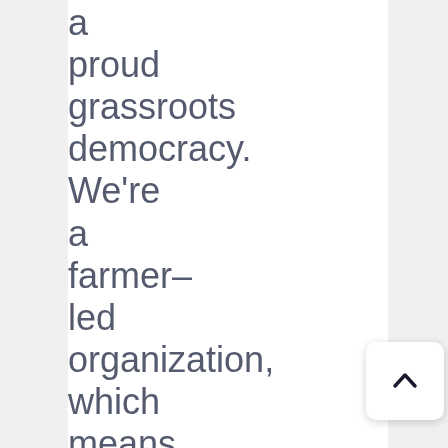a proud grassroots democracy. We're a farmer-led organization, which means we need farmers to fill leadership positions